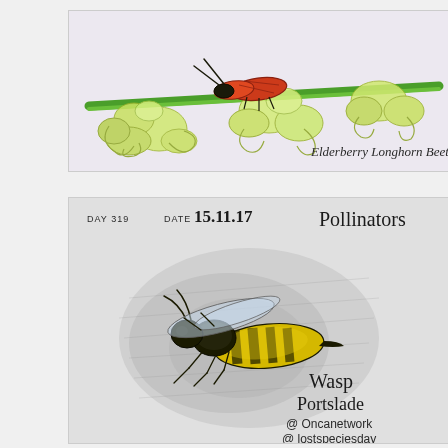[Figure (illustration): Hand-drawn and colored illustration of an Elderberry Longhorn Beetle on a green stem with white/yellow elderberry flowers. The beetle has red/orange wings. Text label reads 'Elderberry Longhorn Beetle'.]
[Figure (illustration): Pencil and colored drawing of a wasp on a grey sketched background. Header text reads 'DAY 319  DATE 15.11.17  Pollinators'. Labels below include 'Wasp', 'Portslade', '@Oncanetwork', '@lostspeciesday'.]